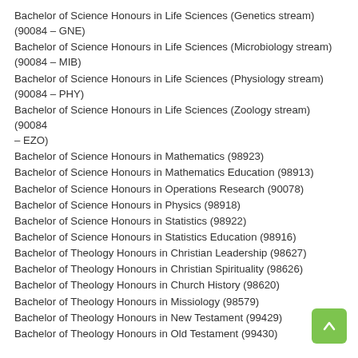Bachelor of Science Honours in Life Sciences (Genetics stream) (90084 – GNE)
Bachelor of Science Honours in Life Sciences (Microbiology stream) (90084 – MIB)
Bachelor of Science Honours in Life Sciences (Physiology stream) (90084 – PHY)
Bachelor of Science Honours in Life Sciences (Zoology stream) (90084 – EZO)
Bachelor of Science Honours in Mathematics (98923)
Bachelor of Science Honours in Mathematics Education (98913)
Bachelor of Science Honours in Operations Research (90078)
Bachelor of Science Honours in Physics (98918)
Bachelor of Science Honours in Statistics (98922)
Bachelor of Science Honours in Statistics Education (98916)
Bachelor of Theology Honours in Christian Leadership (98627)
Bachelor of Theology Honours in Christian Spirituality (98626)
Bachelor of Theology Honours in Church History (98620)
Bachelor of Theology Honours in Missiology (98579)
Bachelor of Theology Honours in New Testament (99429)
Bachelor of Theology Honours in Old Testament (99430)